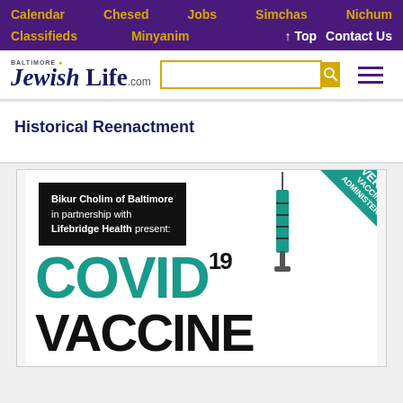Calendar | Chesed | Jobs | Simchas | Nichum | Classifieds | Minyanim | ↑ Top | Contact Us
[Figure (screenshot): Baltimore Jewish Life .com logo with search bar and hamburger menu]
Historical Reenactment
[Figure (infographic): COVID-19 Vaccine Clinic advertisement by Bikur Cholim of Baltimore in partnership with Lifebridge Health. Over 9000 vaccines administered banner in teal corner ribbon. Large teal and black text reads COVID-19 VACCINE CLINIC with syringe graphic.]